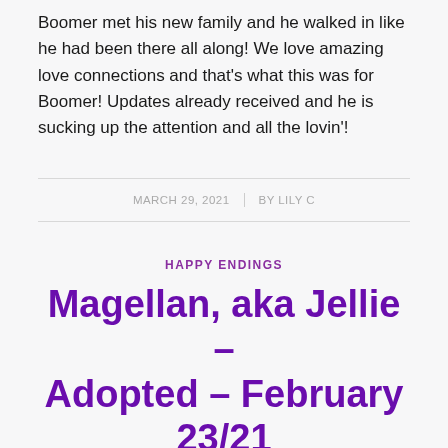Boomer met his new family and he walked in like he had been there all along! We love amazing love connections and that's what this was for Boomer! Updates already received and he is sucking up the attention and all the lovin'!
MARCH 29, 2021 | BY LILY C
HAPPY ENDINGS
Magellan, aka Jellie – Adopted – February 23/21